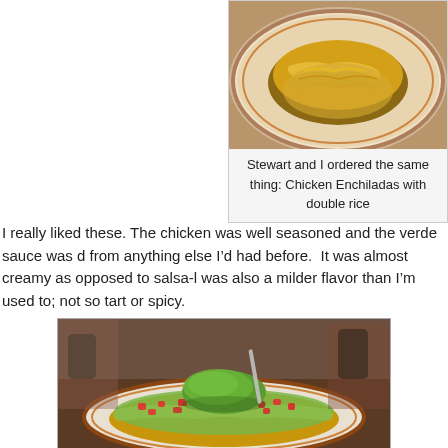[Figure (photo): Top-down photo of a plate of chicken enchiladas covered with shredded cheese and rice, on a white plate with brown rim.]
Stewart and I ordered the same thing: Chicken Enchiladas with double rice
I really liked these. The chicken was well seasoned and the verde sauce was d from anything else I'd had before.  It was almost creamy as opposed to salsa-l was also a milder flavor than I'm used to; not so tart or spicy.
[Figure (photo): Photo of a plate of nachos topped with shredded lettuce, diced tomatoes, and a large scoop of guacamole, served on a white plate with brown rim on a wooden table.]